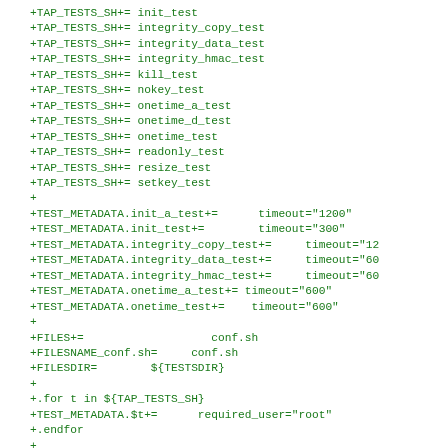+TAP_TESTS_SH+= init_test
+TAP_TESTS_SH+= integrity_copy_test
+TAP_TESTS_SH+= integrity_data_test
+TAP_TESTS_SH+= integrity_hmac_test
+TAP_TESTS_SH+= kill_test
+TAP_TESTS_SH+= nokey_test
+TAP_TESTS_SH+= onetime_a_test
+TAP_TESTS_SH+= onetime_d_test
+TAP_TESTS_SH+= onetime_test
+TAP_TESTS_SH+= readonly_test
+TAP_TESTS_SH+= resize_test
+TAP_TESTS_SH+= setkey_test
+
+TEST_METADATA.init_a_test+=      timeout="1200"
+TEST_METADATA.init_test+=        timeout="300"
+TEST_METADATA.integrity_copy_test+=     timeout="12
+TEST_METADATA.integrity_data_test+=     timeout="60
+TEST_METADATA.integrity_hmac_test+=     timeout="60
+TEST_METADATA.onetime_a_test+= timeout="600"
+TEST_METADATA.onetime_test+=    timeout="600"
+
+FILES+=                   conf.sh
+FILESNAME_conf.sh=     conf.sh
+FILESDIR=        ${TESTSDIR}
+
+.for t in ${TAP_TESTS_SH}
+TEST_METADATA.$t+=      required_user="root"
+.endfor
+
+.include <bsd.test.mk>